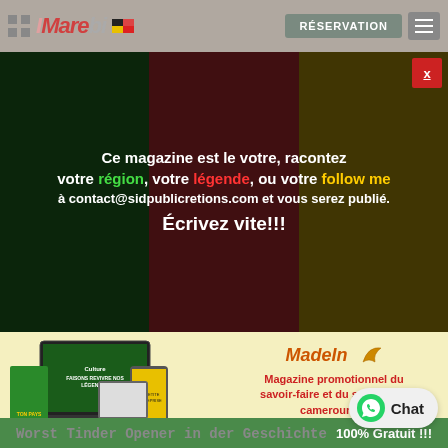IMariebi — RÉSERVATION (header navigation bar)
[Figure (screenshot): Modal popup with Cameroon flag background (green/red/yellow) showing text: Ce magazine est le votre, racontez votre région, votre légende, ou votre follow me à contact@sidpublicretions.com et vous serez publié. Écrivez vite!!! with red X close button]
[Figure (screenshot): Advertisement banner for Made In magazine on yellow background, showing device mockups (laptop, phone, tablet) with magazine covers, logo 'Made In', text 'Magazine promotionnel du savoir-faire et du savoir-être camerounais', website WWW.MIC-MAG.COM, green bar with '100% Gratuit !!!']
Worst Tinder Opener in der Geschichte
[Figure (logo): WhatsApp Chat button in bottom right corner]